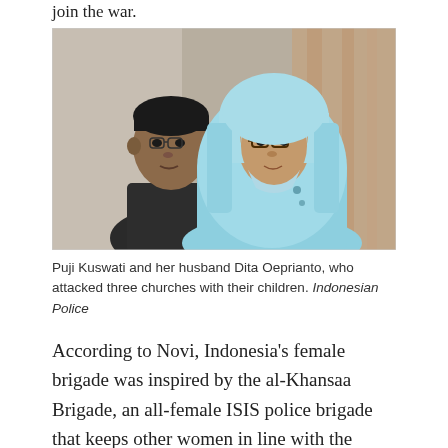join the war.
[Figure (photo): A man and a woman wearing a light blue hijab and glasses stand together indoors with curtains in the background. The woman is Puji Kuswati and the man is her husband Dita Oeprianto.]
Puji Kuswati and her husband Dita Oeprianto, who attacked three churches with their children. Indonesian Police
According to Novi, Indonesia's female brigade was inspired by the al-Khansaa Brigade, an all-female ISIS police brigade that keeps other women in line with the